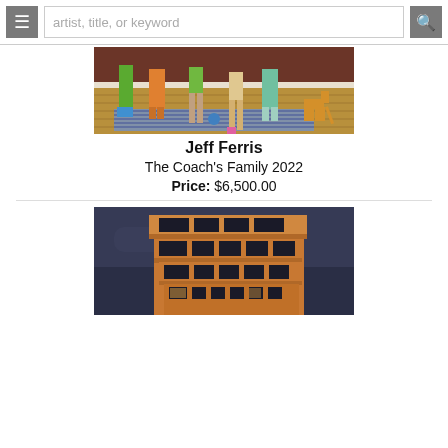artist, title, or keyword
[Figure (photo): Painting showing lower halves of people's legs wearing colorful clothing standing on a wooden floor with a striped rug and a small dog]
Jeff Ferris
The Coach's Family 2022
Price: $6,500.00
[Figure (photo): Painting of a large orange/tan modern building with large windows against a dark stormy sky at night]